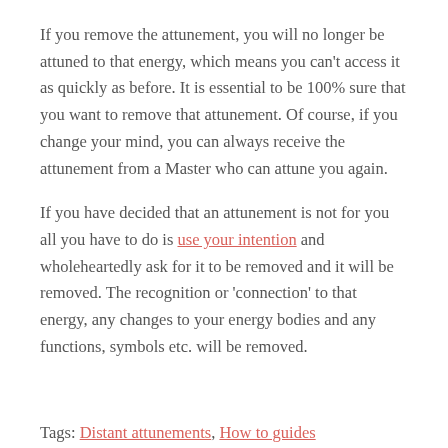If you remove the attunement, you will no longer be attuned to that energy, which means you can't access it as quickly as before. It is essential to be 100% sure that you want to remove that attunement. Of course, if you change your mind, you can always receive the attunement from a Master who can attune you again.
If you have decided that an attunement is not for you all you have to do is use your intention and wholeheartedly ask for it to be removed and it will be removed. The recognition or 'connection' to that energy, any changes to your energy bodies and any functions, symbols etc. will be removed.
Tags: Distant attunements, How to guides
Share